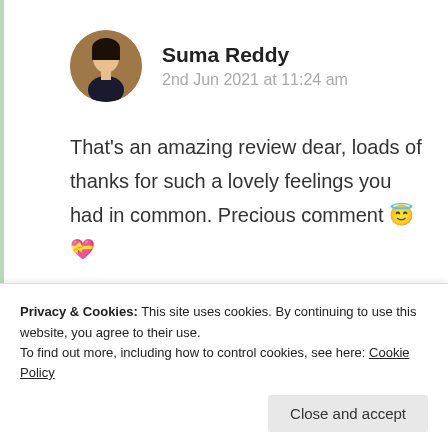Suma Reddy
2nd Jun 2021 at 11:24 am
That’s an amazing review dear, loads of thanks for such a lovely feelings you had in common. Precious comment 😇💞
★ Like
Privacy & Cookies: This site uses cookies. By continuing to use this website, you agree to their use.
To find out more, including how to control cookies, see here: Cookie Policy
Close and accept